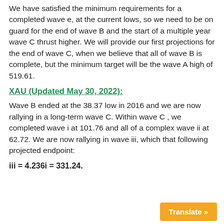We have satisfied the minimum requirements for a completed wave e, at the current lows, so we need to be on guard for the end of wave B and the start of a multiple year wave C thrust higher. We will provide our first projections for the end of wave C, when we believe that all of wave B is complete, but the minimum target will be the wave A high of 519.61.
XAU (Updated May 30, 2022):
Wave B ended at the 38.37 low in 2016 and we are now rallying in a long-term wave C. Within wave C , we completed wave i at 101.76 and all of a complex wave ii at 62.72. We are now rallying in wave iii, which that following projected endpoint: